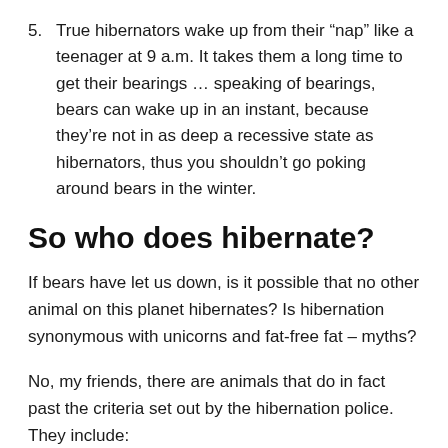5. True hibernators wake up from their “nap” like a teenager at 9 a.m. It takes them a long time to get their bearings … speaking of bearings, bears can wake up in an instant, because they’re not in as deep a recessive state as hibernators, thus you shouldn’t go poking around bears in the winter.
So who does hibernate?
If bears have let us down, is it possible that no other animal on this planet hibernates? Is hibernation synonymous with unicorns and fat-free fat – myths?
No, my friends, there are animals that do in fact past the criteria set out by the hibernation police. They include: